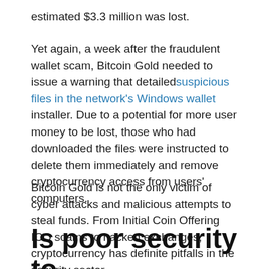estimated $3.3 million was lost.
Yet again, a week after the fraudulent wallet scam, Bitcoin Gold needed to issue a warning that detailed suspicious files in the network's Windows wallet installer. Due to a potential for more user money to be lost, those who had downloaded the files were instructed to delete them immediately and remove cryptocurrency access from users' computers.
Bitcoin Gold is not the only victim of cyber attacks and malicious attempts to steal funds. From Initial Coin Offering ICO scams to hacked exchanges, cryptocurrency has definite pitfalls in the security sector.
Is poor security to blame?